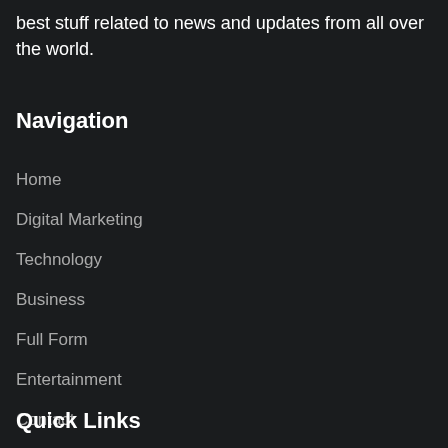best stuff related to news and updates from all over the world.
Navigation
Home
Digital Marketing
Technology
Business
Full Form
Entertainment
Contact
Quick Links